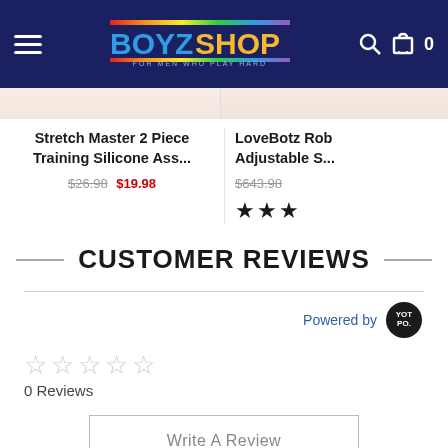BOYZ SHOP — FOR MEN WHO PLAY HARD
Stretch Master 2 Piece Training Silicone Ass...
$26.98 $19.98
LoveBotz Rob Adjustable S... $643.98
CUSTOMER REVIEWS
Powered by Yotpo
0 Reviews
Write A Review